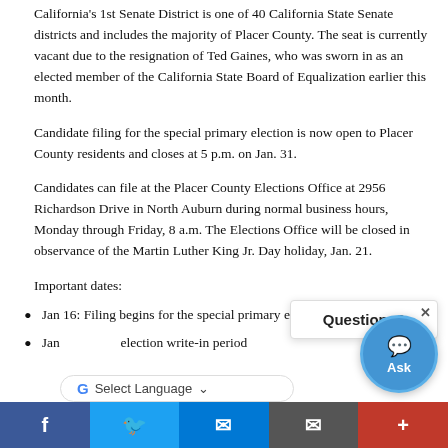California's 1st Senate District is one of 40 California State Senate districts and includes the majority of Placer County. The seat is currently vacant due to the resignation of Ted Gaines, who was sworn in as an elected member of the California State Board of Equalization earlier this month.
Candidate filing for the special primary election is now open to Placer County residents and closes at 5 p.m. on Jan. 31.
Candidates can file at the Placer County Elections Office at 2956 Richardson Drive in North Auburn during normal business hours, Monday through Friday, 8 a.m. The Elections Office will be closed in observance of the Martin Luther King Jr. Day holiday, Jan. 21.
Important dates:
Jan 16: Filing begins for the special primary election
[Jan ...] election write-in period